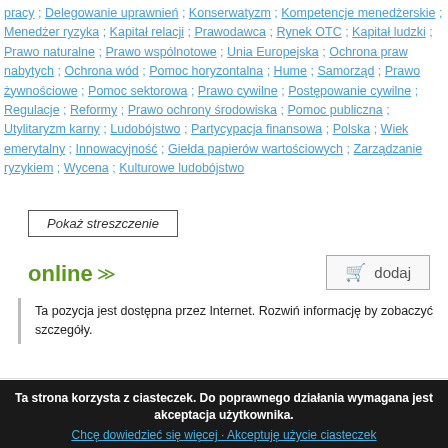pracy ; Delegowanie uprawnień ; Konserwatyzm ; Kompetencje menedżerskie ; Menedżer ryzyka ; Kapitał relacji ; Prawodawca ; Rynek OTC ; Kapitał ludzki ; Prawo naturalne ; Prawo wspólnotowe ; Unia Europejska ; Ochrona praw nabytych ; Ochrona wód ; Pomoc horyzontalna ; Hume ; Samorząd ; Prawo żywnościowe ; Pomoc sektorowa ; Prawo cywilne ; Postępowanie cywilne ; Regulacje ; Reformy ; Prawo ochrony środowiska ; Pomoc publiczna ; Utylitaryzm karny ; Ludobójstwo ; Partycypacja finansowa ; Polska ; Wiek emerytalny ; Innowacyjność ; Giełda papierów wartościowych ; Zarządzanie ryzykiem ; Wycena ; Kulturowe ludobójstwo
Pokaż streszczenie
online ≫
dodaj
Ta pozycja jest dostępna przez Internet. Rozwiń informację by zobaczyć szczegóły.
[Figure (other): Orange bar, partial chart visible at bottom]
Ta strona korzysta z ciasteczek. Do poprawnego działania wymagana jest akceptacja użytkownika.
Chcę dowiedzieć się więcej · Akceptuję użycie ciasteczek